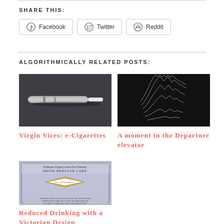SHARE THIS:
Facebook  Twitter  Reddit
ALGORITHMICALLY RELATED POSTS:
[Figure (photo): Photo of a silver e-cigarette/vaporizer device on a dark background]
[Figure (photo): Black and white waveform visualization, Joy Division Unknown Pleasures style, showing stacked mountain-like waveforms on dark background]
Virgin Vices: e-Cigarettes
A moment in the Departure elevator
[Figure (photo): Victorian style 'Professor Enigma's Sure-Fire Patented Drink Reducer Card' with ornamental border, diamond shape, and instructional text]
Reduced Drinking with a Victorian Design